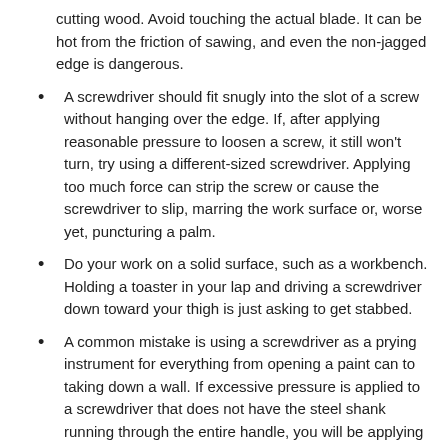cutting wood. Avoid touching the actual blade. It can be hot from the friction of sawing, and even the non-jagged edge is dangerous.
A screwdriver should fit snugly into the slot of a screw without hanging over the edge. If, after applying reasonable pressure to loosen a screw, it still won't turn, try using a different-sized screwdriver. Applying too much force can strip the screw or cause the screwdriver to slip, marring the work surface or, worse yet, puncturing a palm.
Do your work on a solid surface, such as a workbench. Holding a toaster in your lap and driving a screwdriver down toward your thigh is just asking to get stabbed.
A common mistake is using a screwdriver as a prying instrument for everything from opening a paint can to taking down a wall. If excessive pressure is applied to a screwdriver that does not have the steel shank running through the entire handle, you will be applying pressure to the weaker handle as well as the shank and the handle could crack into pieces.
Another no-no: using a screwdriver as a chisel. The metal blade can separate from the shank or the blade could crack into pieces, injuring the user.